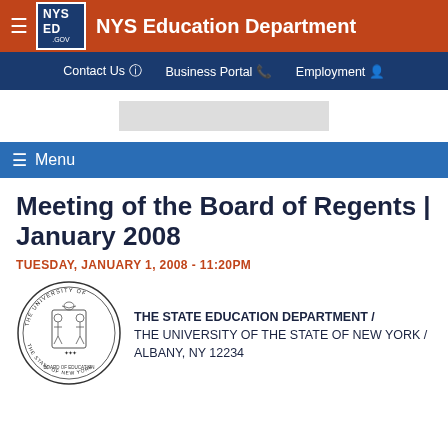NYS Education Department
Contact Us  Business Portal  Employment
Menu
Meeting of the Board of Regents | January 2008
TUESDAY, JANUARY 1, 2008 - 11:20PM
[Figure (illustration): Seal of The University of the State of New York]
THE STATE EDUCATION DEPARTMENT / THE UNIVERSITY OF THE STATE OF NEW YORK / ALBANY, NY 12234